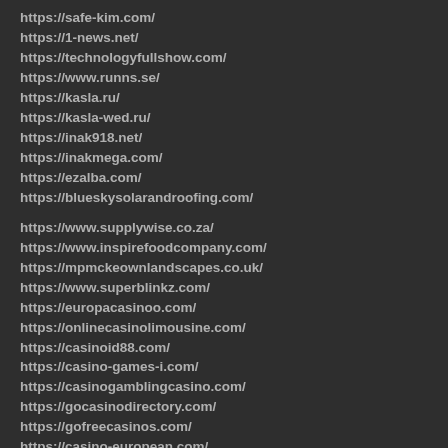https://safe-kim.com/
https://1-news.net/
https://technologyfullshow.com/
https://www.runns.se/
https://kasla.ru/
https://kasla-wed.ru/
https://inak918.net/
https://inakmega.com/
https://ezalba.com/
https://blueskysolarandroofing.com/
https://www.supplywise.co.za/
https://www.inspirefoodcompany.com/
https://mpmckeownlandscapes.co.uk/
https://www.superblinkz.com/
https://europacasinoo.com/
https://onlinecasinolimousine.com/
https://casinoid88.com/
https://casino-games-i.com/
https://casinogamblingcasino.com/
https://gocasinodirectory.com/
https://gofreecasinos.com/
https://casino-european.com/